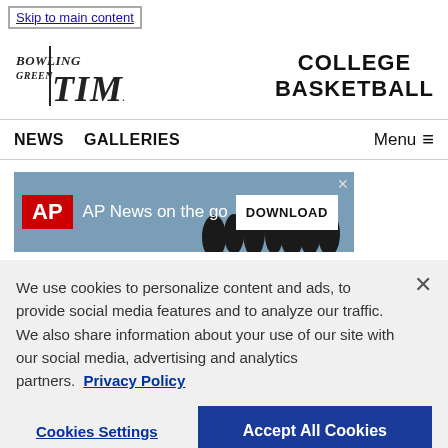Skip to main content
[Figure (logo): Bowling Green Times newspaper logo]
COLLEGE BASKETBALL
NEWS   GALLERIES   Menu
[Figure (screenshot): AP News on the go - Download advertisement banner]
We use cookies to personalize content and ads, to provide social media features and to analyze our traffic. We also share information about your use of our site with our social media, advertising and analytics partners. Privacy Policy
Cookies Settings   Accept All Cookies